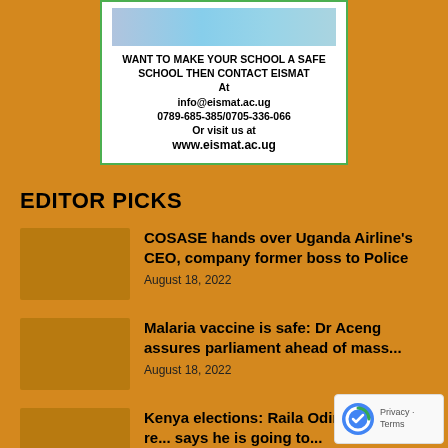[Figure (advertisement): Advertisement for EISMAT school safety program with image of students at top, text promoting school safety contact information including info@eismat.ac.ug, phone numbers 0789-685-385/0705-336-066, and website www.eismat.ac.ug]
EDITOR PICKS
COSASE hands over Uganda Airline's CEO, company former boss to Police
August 18, 2022
Malaria vaccine is safe: Dr Aceng assures parliament ahead of mass...
August 18, 2022
Kenya elections: Raila Odinga rejects re... says he is going to...